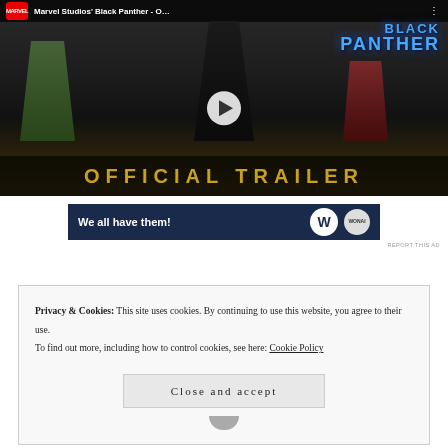[Figure (screenshot): Marvel Studios Black Panther Official Trailer video thumbnail with play button. Shows Black Panther characters in dark scene with 'OFFICIAL TRAILER' text at bottom in gold letters and Black Panther logo top right.]
[Figure (screenshot): Dark blue advertisement banner reading 'We all have them!' with W logo and WONAI badge on the right.]
REPORT THIS AD
Privacy & Cookies: This site uses cookies. By continuing to use this website, you agree to their use.
To find out more, including how to control cookies, see here: Cookie Policy
Close and accept